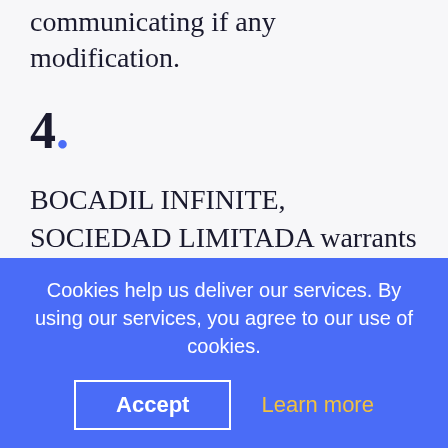communicating if any modification.
4.
BOCADIL INFINITE, SOCIEDAD LIMITADA warrants that the server where the personal data is stored and dealt will be benefitted of the necessary safety measures with the aim to avoid them to be altered, lost, treated or accessed without
Cookies help us deliver our services. By using our services, you agree to our use of cookies.
Accept
Learn more